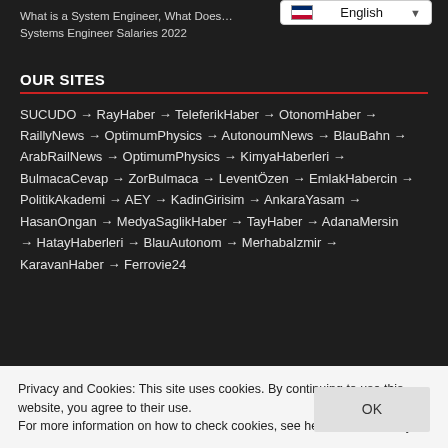What is a System Engineer, What Does… Systems Engineer Salaries 2022
OUR SITES
SUCUDO → RayHaber → TeleferikHaber → OtonomHaber → RaillyNews → OptimumPhysics → AutonoumNews → BlauBahn → ArabRailNews → OptimumPhysics → KimyaHaberleri → BulmacaCevap → ZorBulmaca → LeventÖzen → EmlakHabercin → PolitikAkademi → AEY → KadinGirisim → AnkaraYasam → HasanOngan → MedyaSaglikHaber → TayHaber → AdanaMersin → HatayHaberleri → BlauAutonom → MerhabaIzmir → KaravanHaber → Ferrovie24
Privacy and Cookies: This site uses cookies. By continuing to use this website, you agree to their use.
For more information on how to check cookies, see here: Cookie Policy